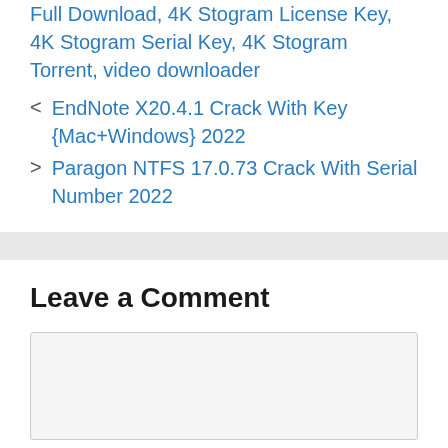Full Download, 4K Stogram License Key, 4K Stogram Serial Key, 4K Stogram Torrent, video downloader
< EndNote X20.4.1 Crack With Key {Mac+Windows} 2022
> Paragon NTFS 17.0.73 Crack With Serial Number 2022
Leave a Comment